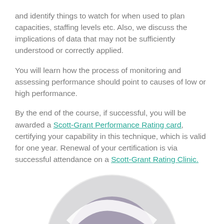and identify things to watch for when used to plan capacities, staffing levels etc. Also, we discuss the implications of data that may not be sufficiently understood or correctly applied.
You will learn how the process of monitoring and assessing performance should point to causes of low or high performance.
By the end of the course, if successful, you will be awarded a Scott-Grant Performance Rating card, certifying your capability in this technique, which is valid for one year. Renewal of your certification is via successful attendance on a Scott-Grant Rating Clinic.
[Figure (logo): Circular logo with stylized 'n' letterform in white on a mauve/purple background, set within a large light grey circle. Partial view of the logo at the bottom of the page.]